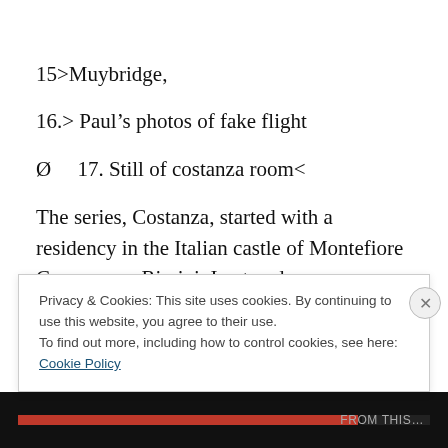15>Muybridge,
16.> Paul's photos of fake flight
Ø    17. Still of costanza room<
The series, Costanza, started with a residency in the Italian castle of Montefiore Conca, near Rimini. I entered a room near the top of the castle and although I am not spiritual. I felt a strong female presence there. Later I was
Privacy & Cookies: This site uses cookies. By continuing to use this website, you agree to their use.
To find out more, including how to control cookies, see here: Cookie Policy
Close and accept